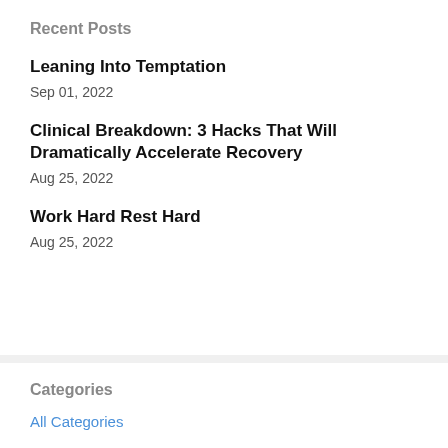Recent Posts
Leaning Into Temptation
Sep 01, 2022
Clinical Breakdown: 3 Hacks That Will Dramatically Accelerate Recovery
Aug 25, 2022
Work Hard Rest Hard
Aug 25, 2022
Categories
All Categories